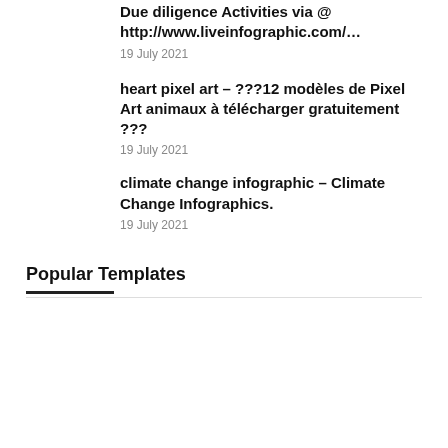Due diligence Activities via @ http://www.liveinfographic.com/…
19 July 2021
heart pixel art – ???12 modèles de Pixel Art animaux à télécharger gratuitement ???
19 July 2021
climate change infographic – Climate Change Infographics.
19 July 2021
Popular Templates